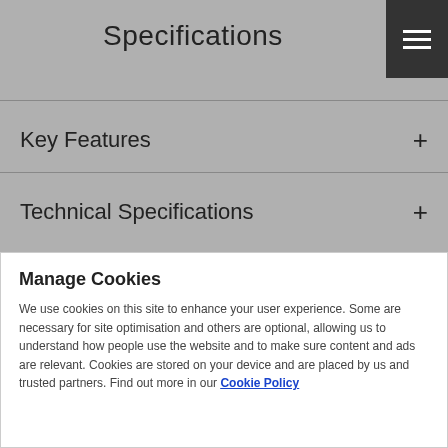Specifications
Key Features +
Technical Specifications +
Manage Cookies
We use cookies on this site to enhance your user experience. Some are necessary for site optimisation and others are optional, allowing us to understand how people use the website and to make sure content and ads are relevant. Cookies are stored on your device and are placed by us and trusted partners. Find out more in our Cookie Policy